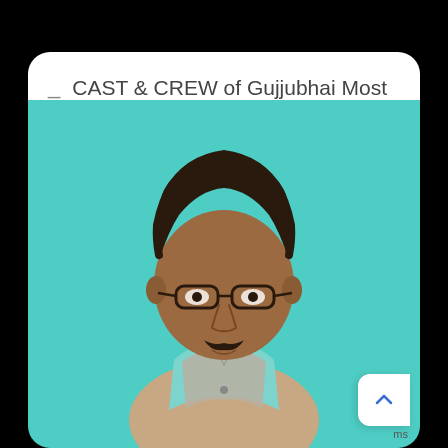CAST & CREW of Gujjubhai Most Wanted
[Figure (photo): Portrait photo of a middle-aged Indian man with glasses and a mustache, wearing a light green shirt and grey vest, posed against a teal/turquoise background. This appears to be a cast/promotional photo from the Gujarati film or show 'Gujjubhai Most Wanted'.]